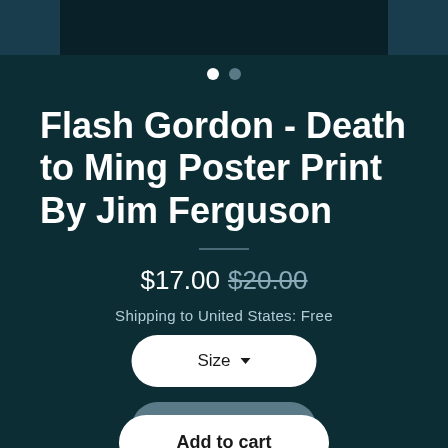[Figure (screenshot): Dark teal background with top bar containing darker panels on left and right edges, two navigation dots below]
Flash Gordon - Death to Ming Poster Print By Jim Ferguson
$17.00 $20.00
Shipping to United States: Free
Size
Quantity
Add to cart